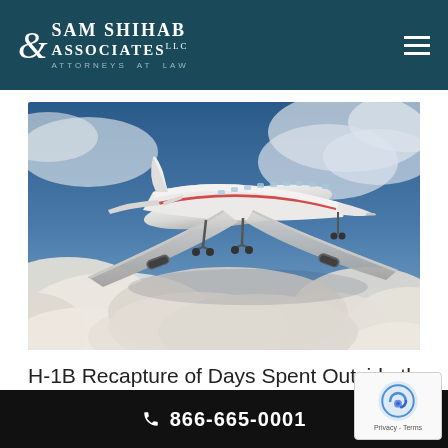Sam Shihab & Associates LLC Attorneys at Law
[Figure (photo): Commercial airplane flying through clouds, viewed from below-front, with landing gear down against a dramatic cloudy blue sky]
H-1B Recapture of Days Spent Outside the
866-665-0001